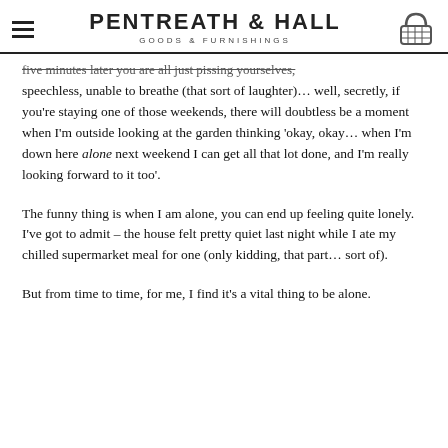PENTREATH & HALL — GOODS & FURNISHINGS
five minutes later you are all just pissing yourselves, speechless, unable to breathe (that sort of laughter)… well, secretly, if you're staying one of those weekends, there will doubtless be a moment when I'm outside looking at the garden thinking 'okay, okay… when I'm down here alone next weekend I can get all that lot done, and I'm really looking forward to it too'.
The funny thing is when I am alone, you can end up feeling quite lonely. I've got to admit – the house felt pretty quiet last night while I ate my chilled supermarket meal for one (only kidding, that part… sort of).
But from time to time, for me, I find it's a vital thing to be alone.